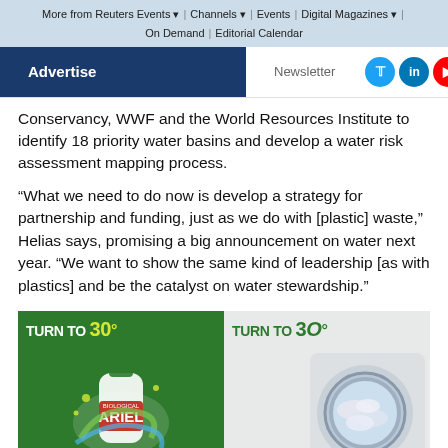More from Reuters Events | Channels | Events | Digital Magazines | On Demand | Editorial Calendar
Advertise | Newsletter
Conservancy, WWF and the World Resources Institute to identify 18 priority water basins and develop a water risk assessment mapping process.
“What we need to do now is develop a strategy for partnership and funding, just as we do with [plastic] waste,” Helias says, promising a big announcement on water next year. “We want to show the same kind of leadership [as with plastics] and be the catalyst on water stewardship.”
[Figure (photo): Two-panel advertisement: Left panel shows Ariel Biological detergent on a green background with 'TURN TO 30°' text in white and yellow. Right panel shows a washing machine drum with laundry and 'TURN TO 30°' text in green.]